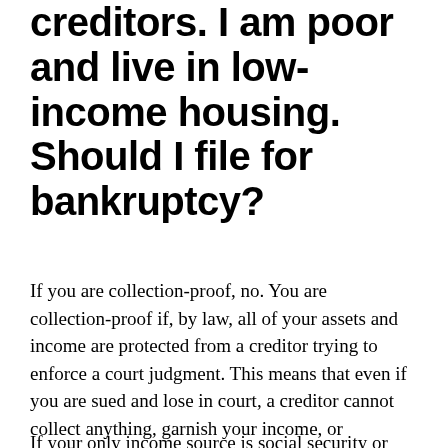creditors. I am poor and live in low-income housing. Should I file for bankruptcy?
If you are collection-proof, no. You are collection-proof if, by law, all of your assets and income are protected from a creditor trying to enforce a court judgment. This means that even if you are sued and lose in court, a creditor cannot collect anything, garnish your income, or repossess any property.
If your only income source is social security or other government benefits, that income is